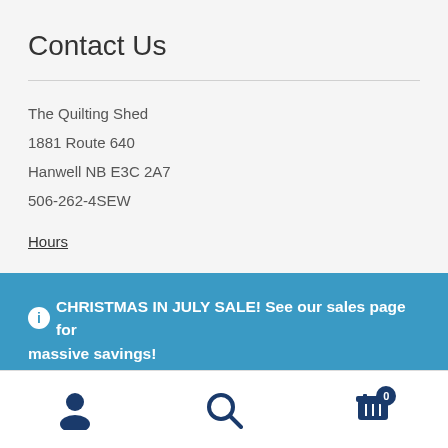Contact Us
The Quilting Shed
1881 Route 640
Hanwell NB E3C 2A7
506-262-4SEW
Hours
CHRISTMAS IN JULY SALE! See our sales page for massive savings!
Dismiss